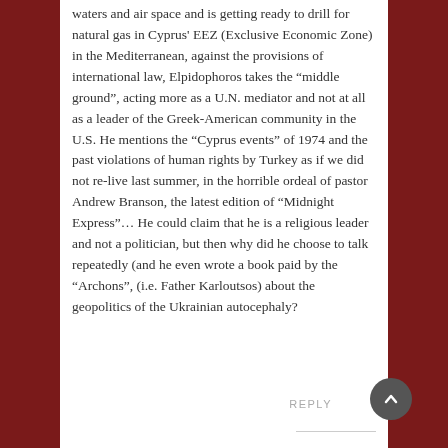waters and air space and is getting ready to drill for natural gas in Cyprus' EEZ (Exclusive Economic Zone) in the Mediterranean, against the provisions of international law, Elpidophoros takes the “middle ground”, acting more as a U.N. mediator and not at all as a leader of the Greek-American community in the U.S. He mentions the “Cyprus events” of 1974 and the past violations of human rights by Turkey as if we did not re-live last summer, in the horrible ordeal of pastor Andrew Branson, the latest edition of “Midnight Express”… He could claim that he is a religious leader and not a politician, but then why did he choose to talk repeatedly (and he even wrote a book paid by the “Archons”, (i.e. Father Karloutsos) about the geopolitics of the Ukrainian autocephaly?
REPLY